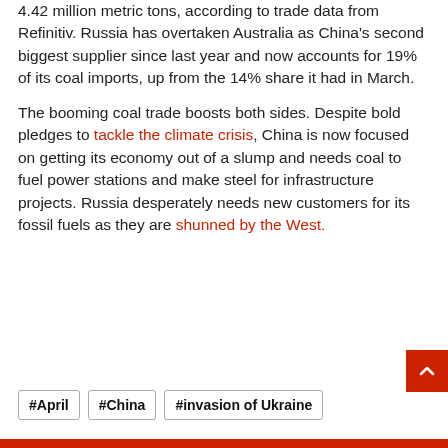4.42 million metric tons, according to trade data from Refinitiv. Russia has overtaken Australia as China's second biggest supplier since last year and now accounts for 19% of its coal imports, up from the 14% share it had in March.
The booming coal trade boosts both sides. Despite bold pledges to tackle the climate crisis, China is now focused on getting its economy out of a slump and needs coal to fuel power stations and make steel for infrastructure projects. Russia desperately needs new customers for its fossil fuels as they are shunned by the West.
#April
#China
#invasion of Ukraine